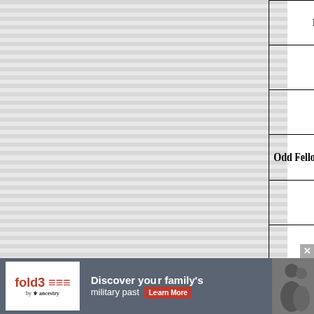| Address | Name | Relationship | Status |
| --- | --- | --- | --- |
| Brook Street | Sutcliffe Ogden | head | m |
|  | Betty Ogden | wife | m |
|  |  |  |  |
| Odd Fellows Hall, Brook Street | Joseph Cliffe | head | m |
|  | Mary Cliffe | wife | m |
|  | John Cliffe | son |  |
|  | Sarah Cliffe | dtr |  |
|  | Betty Cliffe | dtr |  |
|  | Martha Cliffe | dtr |  |
|  | Esther Holt | mother in law | widd |
|  |  |  |  |
|  |  | head | m |
[Figure (other): Fold3 by Ancestry advertisement banner: 'Discover your family's military past' with Learn More button and historical photo]